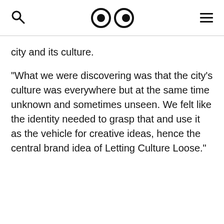[search icon] [eyes logo] [menu icon]
city and its culture.
"What we were discovering was that the city's culture was everywhere but at the same time unknown and sometimes unseen. We felt like the identity needed to grasp that and use it as the vehicle for creative ideas, hence the central brand idea of Letting Culture Loose."